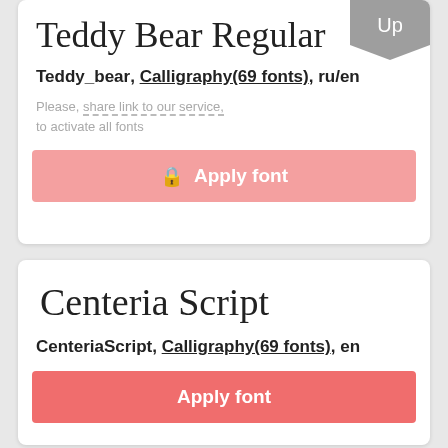[Figure (illustration): Teddy Bear Regular script font name displayed in cursive handwriting style]
Teddy_bear, Calligraphy(69 fonts), ru/en
Please, share link to our service, to activate all fonts
Apply font
[Figure (illustration): Centeria Script font name displayed in cursive handwriting style]
CenteriaScript, Calligraphy(69 fonts), en
Apply font